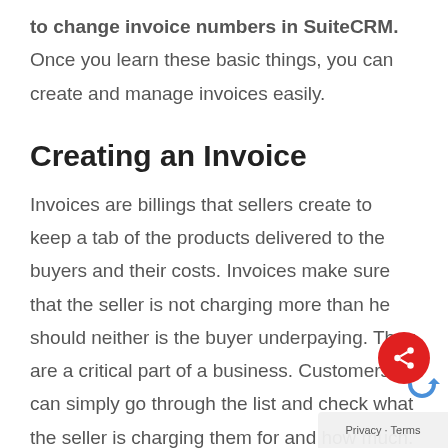to change invoice numbers in SuiteCRM. Once you learn these basic things, you can create and manage invoices easily.
Creating an Invoice
Invoices are billings that sellers create to keep a tab of the products delivered to the buyers and their costs. Invoices make sure that the seller is not charging more than he should neither is the buyer underpaying. They are a critical part of a business. Customers can simply go through the list and check what the seller is charging them for and how much. This